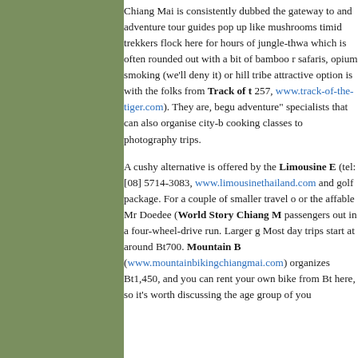[Figure (other): Olive/sage green sidebar panel on the left third of the page]
Chiang Mai is consistently dubbed the gateway to and adventure tour guides pop up like mushrooms timid trekkers flock here for hours of jungle-thwa which is often rounded out with a bit of bamboo r safaris, opium smoking (we'll deny it) or hill tribe attractive option is with the folks from Track of t 257, www.track-of-the-tiger.com). They are, begu adventure" specialists that can also organise city-b cooking classes to photography trips.

A cushy alternative is offered by the Limousine E (tel: [08] 5714-3083, www.limousinethailand.com and golf package. For a couple of smaller travel o or the affable Mr Doedee (World Story Chiang M passengers out in a four-wheel-drive run. Larger g Most day trips start at around Bt700. Mountain B (www.mountainbikingchiangmai.com) organizes Bt1,450, and you can rent your own bike from Bt here, so it's worth discussing the age group of you